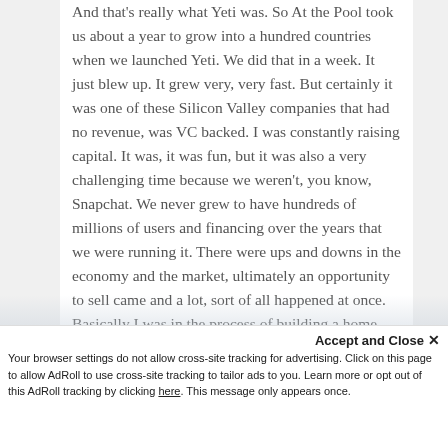And that's really what Yeti was. So At the Pool took us about a year to grow into a hundred countries when we launched Yeti. We did that in a week. It just blew up. It grew very, very fast. But certainly it was one of these Silicon Valley companies that had no revenue, was VC backed. I was constantly raising capital. It was, it was fun, but it was also a very challenging time because we weren't, you know, Snapchat. We never grew to have hundreds of millions of users and financing over the years that we were running it. There were ups and downs in the economy and the market, ultimately an opportunity to sell came and a lot, sort of all happened at once. Basically I was in the process of building a home here in Beverly Hills, an advisor
Accept and Close ✕
Your browser settings do not allow cross-site tracking for advertising. Click on this page to allow AdRoll to use cross-site tracking to tailor ads to you. Learn more or opt out of this AdRoll tracking by clicking here. This message only appears once.